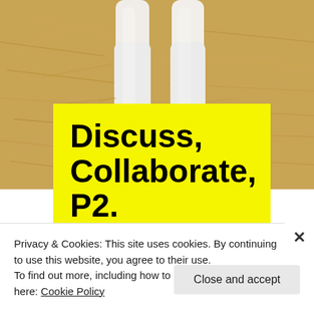[Figure (photo): Close-up photo of a young lamb or goat legs and hooves standing on hay/straw]
Discuss, Collaborate, P2.
Privacy & Cookies: This site uses cookies. By continuing to use this website, you agree to their use.
To find out more, including how to control cookies, see here: Cookie Policy
Close and accept